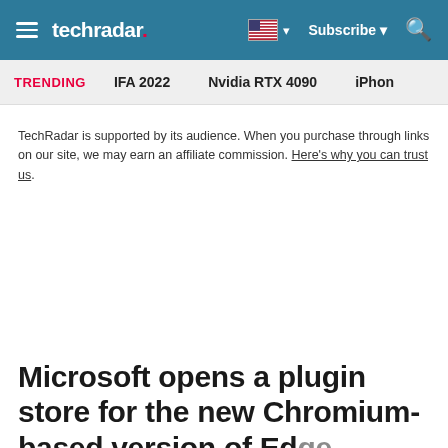techradar | Subscribe | Search
TRENDING   IFA 2022   Nvidia RTX 4090   iPhon
TechRadar is supported by its audience. When you purchase through links on our site, we may earn an affiliate commission. Here's why you can trust us.
Microsoft opens a plugin store for the new Chromium-based version of Edge